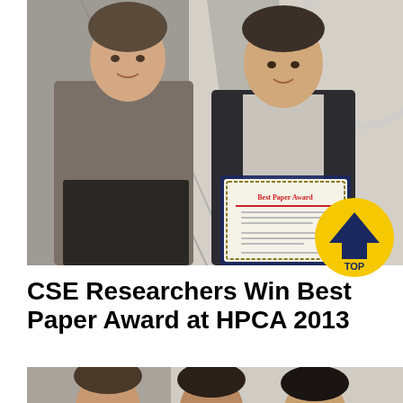[Figure (photo): Two men standing indoors in an atrium with staircases. The man on the left wears a striped gray shirt and dark pants. The man on the right holds a framed Best Paper Award certificate and wears a dark jacket. A yellow circular TOP badge is overlaid in the bottom right corner of the photo.]
CSE Researchers Win Best Paper Award at HPCA 2013
[Figure (photo): Three men standing indoors in an atrium, partially cropped. Visible from roughly the shoulders up. The image is cut off at the bottom of the page.]